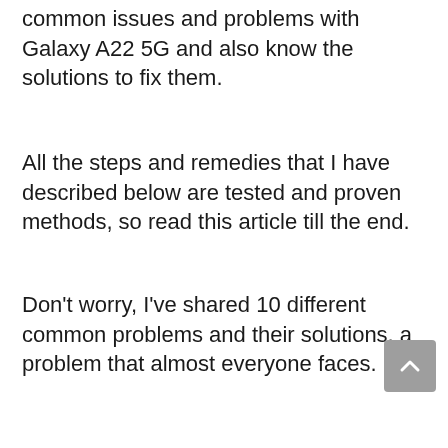First of all, in this article, we will discuss various common issues and problems with Galaxy A22 5G and also know the solutions to fix them.
All the steps and remedies that I have described below are tested and proven methods, so read this article till the end.
Don't worry, I've shared 10 different common problems and their solutions, a problem that almost everyone faces.
I am sure that with this guide today you will definitely get a solution to the problem happening on your phone.
Please read all the steps and remedies included